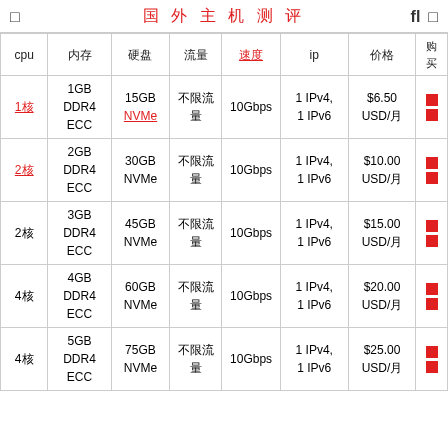国外主机测评
| cpu | 内存 | 硬盘 | 流量 | 速度 | ip | 价格 | 购买 |
| --- | --- | --- | --- | --- | --- | --- | --- |
| 1核 | 1GB DDR4 ECC | 15GB NVMe | 不限流量 | 10Gbps | 1 IPv4, 1 IPv6 | $6.50 USD/月 | 购买链接 |
| 2核 | 2GB DDR4 ECC | 30GB NVMe | 不限流量 | 10Gbps | 1 IPv4, 1 IPv6 | $10.00 USD/月 | 购买链接 |
| 2核 | 3GB DDR4 ECC | 45GB NVMe | 不限流量 | 10Gbps | 1 IPv4, 1 IPv6 | $15.00 USD/月 | 购买链接 |
| 4核 | 4GB DDR4 ECC | 60GB NVMe | 不限流量 | 10Gbps | 1 IPv4, 1 IPv6 | $20.00 USD/月 | 购买链接 |
| 4核 | 5GB DDR4 ECC | 75GB NVMe | 不限流量 | 10Gbps | 1 IPv4, 1 IPv6 | $25.00 USD/月 | 购买链接 |